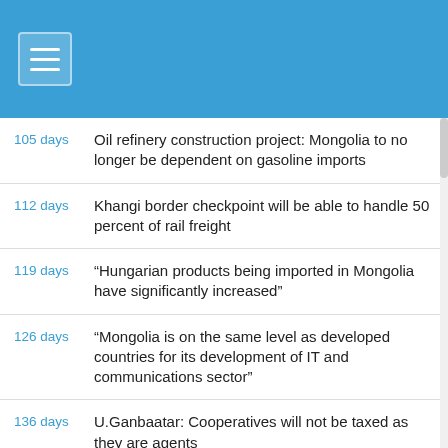Menu header bar with hamburger icon
105 days — Oil refinery construction project: Mongolia to no longer be dependent on gasoline imports
112 days — Khangi border checkpoint will be able to handle 50 percent of rail freight
119 days — “Hungarian products being imported in Mongolia have significantly increased”
126 days — “Mongolia is on the same level as developed countries for its development of IT and communications sector”
136 days — U.Ganbaatar: Cooperatives will not be taxed as they are agents
136 days — Green Development model to be defined by Mongolia
209 days — “InvesCore’s achievements will serve as a stepping stone for many more Mongolian companies to enter the foreign market”
248 days — Sankou Tech Mongolia manufactures mechanical parts for export to Japan
263 days — Vinod Ahuja: The use of data in policy planning lacks in